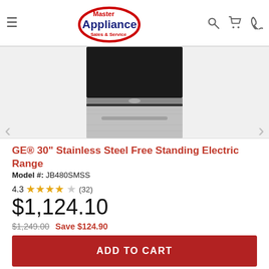[Figure (logo): Master Appliance Sales & Service logo - red oval with blue text]
[Figure (photo): GE 30-inch Stainless Steel Free Standing Electric Range product photo showing black top and stainless steel lower body]
GE® 30" Stainless Steel Free Standing Electric Range
Model #: JB480SMSS
4.3 ★★★★☆ (32)
$1,124.10
$1,249.00  Save $124.90
ADD TO CART